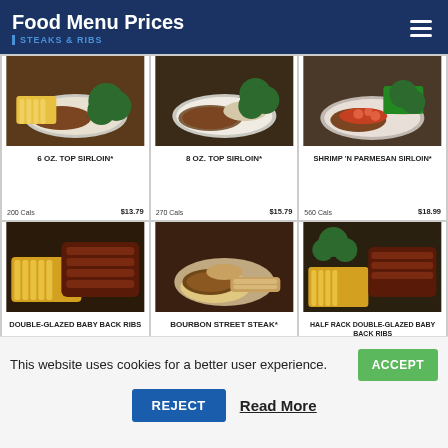Food Menu Prices — STEAKS & RIBS
[Figure (photo): 6 oz. Top Sirloin* — plate with steak, fries, and broccoli]
6 OZ. TOP SIRLOIN*
200 Cals   $13.79
[Figure (photo): 8 oz. Top Sirloin* — plate with steak, mashed potatoes, and broccoli]
8 OZ. TOP SIRLOIN*
270 Cals   $15.79
[Figure (photo): Shrimp 'N Parmesan Sirloin* — plate with steak topped with shrimp and green beans]
SHRIMP 'N PARMESAN SIRLOIN*
560 Cals   $18.99
[Figure (photo): Double-Glazed Baby Back Ribs — plate with ribs and fries]
DOUBLE-GLAZED BABY BACK RIBS
920 Cals   $19.99
[Figure (photo): Bourbon Street Steak* — plate with steak and pasta]
BOURBON STREET STEAK*
820 Cals   $16.29
[Figure (photo): Half Rack Double-Glazed Baby Back Ribs — plate with ribs, fries, and broccoli]
HALF RACK DOUBLE-GLAZED BABY BACK RIBS
460 Cals   $14.99
This website uses cookies for a better user experience.
ACCEPT
REJECT
Read More